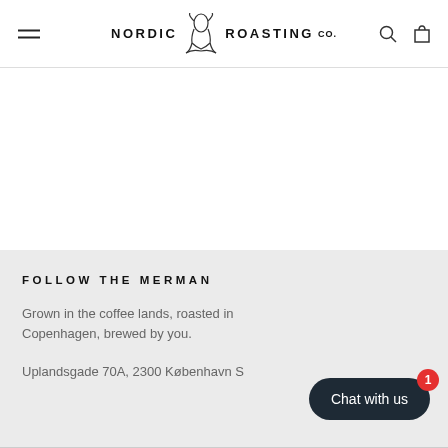NORDIC ROASTING Co.
FOLLOW THE MERMAN
Grown in the coffee lands, roasted in Copenhagen, brewed by you.
Uplandsgade 70A, 2300 København S